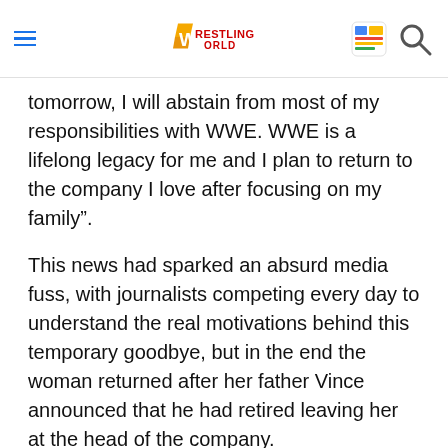Wrestling World
tomorrow, I will abstain from most of my responsibilities with WWE. WWE is a lifelong legacy for me and I plan to return to the company I love after focusing on my family”.
This news had sparked an absurd media fuss, with journalists competing every day to understand the real motivations behind this temporary goodbye, but in the end the woman returned after her father Vince announced that he had retired leaving her at the head of the company.
as President and Co-CEO.